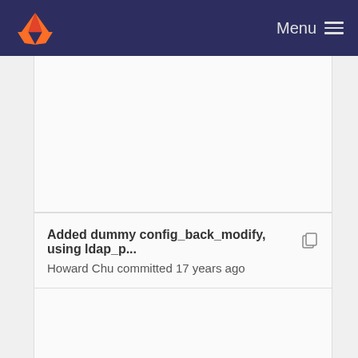Menu
Added dummy config_back_modify, using ldap_p...
Howard Chu committed 17 years ago
Reorganized config/bconfig. Migrated back-bdb c...